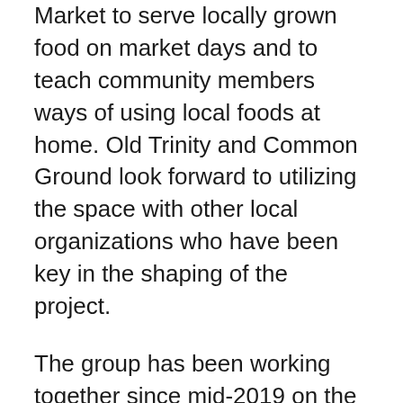Market to serve locally grown food on market days and to teach community members ways of using local foods at home. Old Trinity and Common Ground look forward to utilizing the space with other local organizations who have been key in the shaping of the project.
The group has been working together since mid-2019 on the project. Old Trinity has engaged its neighbors at the Seneca County Justice Center, including the judges and the Seneca County Commissioners. The project is contingent on the purchase of a portion of the county parking lot adjacent to the church and the Justice Center which would allow the kitchen's footprint to expand just past the church's current square footage. The parking for the Justice Center would also be enhanced and secured by a perimeter security fence and gate.